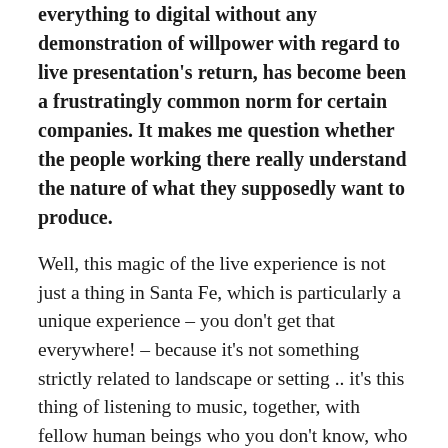everything to digital without any demonstration of willpower with regard to live presentation's return, has become been a frustratingly common norm for certain companies. It makes me question whether the people working there really understand the nature of what they supposedly want to produce.
Well, this magic of the live experience is not just a thing in Santa Fe, which is particularly a unique experience – you don't get that everywhere! – because it's not something strictly related to landscape or setting .. it's this thing of listening to music, together, with fellow human beings who you don't know, who maybe you don't even say hi to, maybe you sit there on your own, but you are all there, communing, for the evening, and you then disperse to all parts of the world. And you